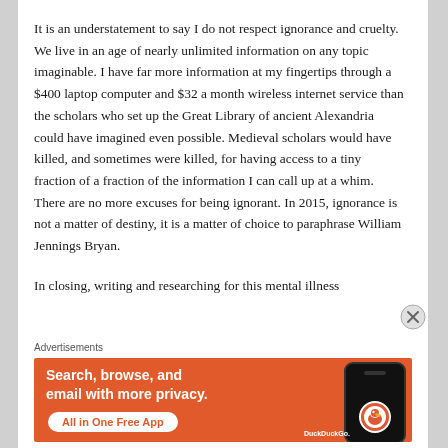It is an understatement to say I do not respect ignorance and cruelty.  We live in an age of nearly unlimited information on any topic imaginable.  I have far more information at my fingertips through a $400 laptop computer and $32 a month wireless internet service than the scholars who set up the Great Library of ancient Alexandria could have imagined even possible.  Medieval scholars would have killed, and sometimes were killed, for having access to a tiny fraction of a fraction of the information I can call up at a whim.  There are no more excuses for being ignorant.  In 2015, ignorance is not a matter of destiny, it is a matter of choice to paraphrase William Jennings Bryan.
In closing, writing and researching for this mental illness
Advertisements
[Figure (other): DuckDuckGo advertisement banner: orange background with white bold text 'Search, browse, and email with more privacy.' and a white pill-shaped button reading 'All in One Free App' in orange text. Right side shows a dark smartphone with the DuckDuckGo circular duck logo and 'DuckDuckGo.' text.]